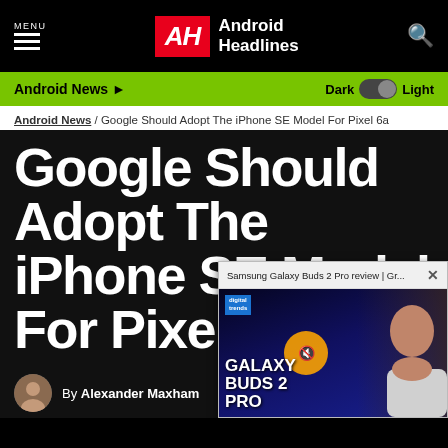MENU | Android Headlines
Android News | Dark | Light
Android News / Google Should Adopt The iPhone SE Model For Pixel 6a
Google Should Adopt The iPhone SE Model For Pixel 6a
By Alexander Maxham
[Figure (screenshot): Video popup overlay for Samsung Galaxy Buds 2 Pro review on Digital Trends, showing GALAXY BUDS 2 PRO text with a presenter holding the earbuds]